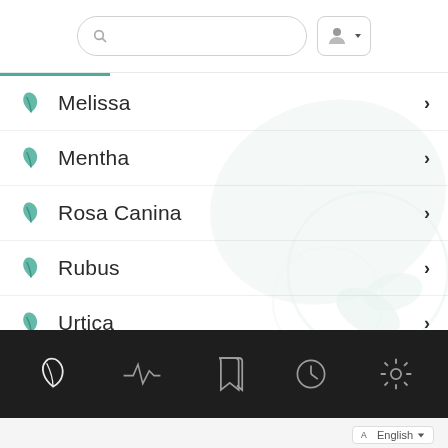[Figure (screenshot): Search bar and user avatar button in top navigation]
Melissa
Mentha
Rosa Canina
Rubus
Urtica
Tilia Cordata
[Figure (screenshot): Bottom navigation bar with leaf, activity, bookmark, clock, and settings icons]
English